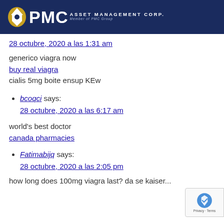[Figure (logo): PMC Asset Management Corp logo with ship icon on dark blue header bar]
28 octubre, 2020 a las 1:31 am
generico viagra now
buy real viagra
cialis 5mg boite ensup KEw
bcoqci says:
28 octubre, 2020 a las 6:17 am
world's best doctor
canada pharmacies
Fatimabijq says:
28 octubre, 2020 a las 2:05 pm
how long does 100mg viagra last? da se kaiser...